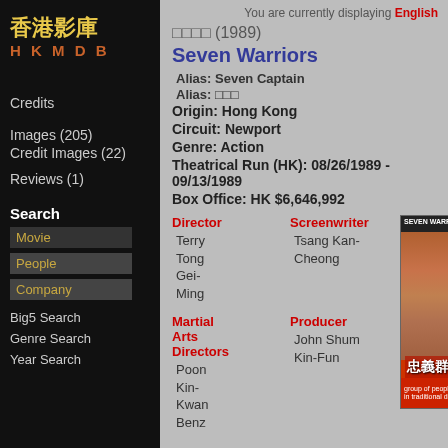[Figure (logo): HKMDB logo with Chinese characters in gold and HKMDB in orange]
Credits
Images (205)
Credit Images (22)
Reviews (1)
Search
Movie
People
Company
Big5 Search
Genre Search
Year Search
You are currently displaying English
□□□□ (1989)
Seven Warriors
Alias: Seven Captain
Alias: □□□
Origin: Hong Kong
Circuit: Newport
Genre: Action
Theatrical Run (HK): 08/26/1989 - 09/13/1989
Box Office: HK $6,646,992
Director
Terry Tong Gei-Ming
Screenwriter
Tsang Kan-Cheong
[Figure (photo): Movie poster for Seven Warriors showing faces and Chinese text 忠義群英 on red background]
Martial Arts Directors
Poon Kin-Kwan
Benz
Producer
John Shum Kin-Fun